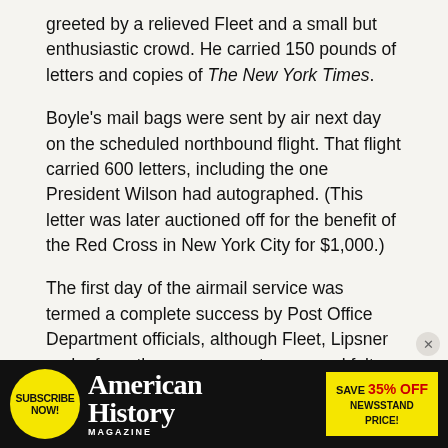greeted by a relieved Fleet and a small but enthusiastic crowd. He carried 150 pounds of letters and copies of The New York Times.
Boyle's mail bags were sent by air next day on the scheduled northbound flight. That flight carried 600 letters, including the one President Wilson had autographed. (This letter was later auctioned off for the benefit of the Red Cross in New York City for $1,000.)
The first day of the airmail service was termed a complete success by Post Office Department officials, although Fleet, Lipsner and a few other government personnel felt differently.
[Figure (other): Advertisement banner for American History Magazine: yellow 'Subscribe Now!' circle button on left, 'American History MAGAZINE' text in center, 'Save 35% Off Newsstand Price!' in yellow and red text on right, all on black background.]